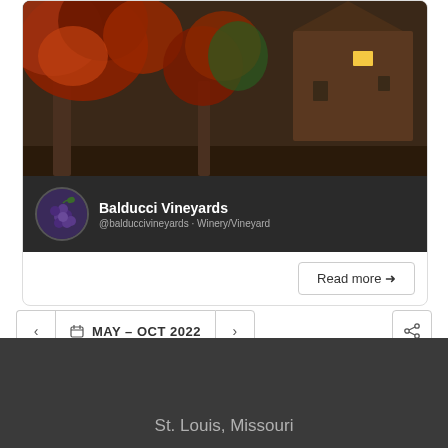[Figure (screenshot): Balducci Vineyards Facebook/social media page header showing autumn barn scene with red foliage, profile picture of grapes, name 'Balducci Vineyards', handle '@balduccivineyards · Winery/Vineyard']
Read more →
< MAY – OCT 2022 > [RSS icon]
St. Louis, Missouri